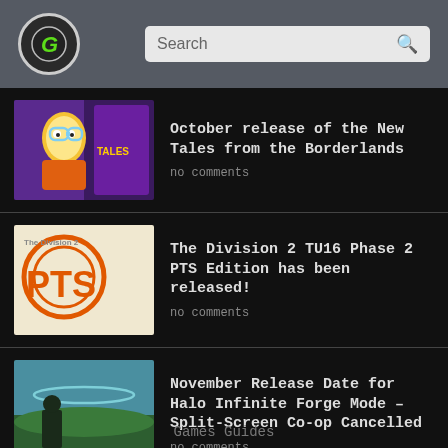Games Guides - Search
October release of the New Tales from the Borderlands
no comments
The Division 2 TU16 Phase 2 PTS Edition has been released!
no comments
November Release Date for Halo Infinite Forge Mode – Split-Screen Co-op Cancelled
no comments
Games Guides